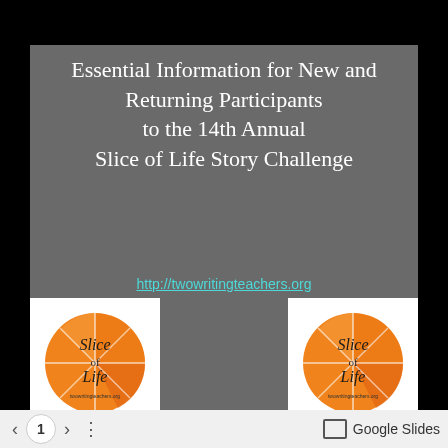Essential Information for New and Returning Participants to the 14th Annual Slice of Life Story Challenge
http://twowritingteachers.org
[Figure (logo): Slice of Life logo — orange disc with 'Slice of Life' text, left side]
[Figure (logo): Slice of Life logo — orange disc with 'Slice of Life' text, right side]
< 1 > ⋮  Google Slides